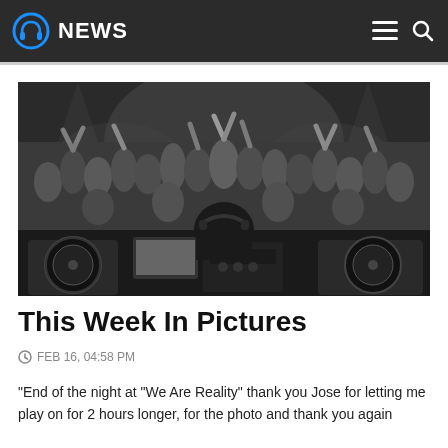NEWS
[Figure (photo): Black and white photo of a DJ at turntables facing a crowd of people with arms raised in the air at a nightclub event.]
This Week In Pictures
FEB 16, 04:58 PM
“End of the night at “We Are Reality” thank you Jose for letting me play on for 2 hours longer, for the photo and thank you again